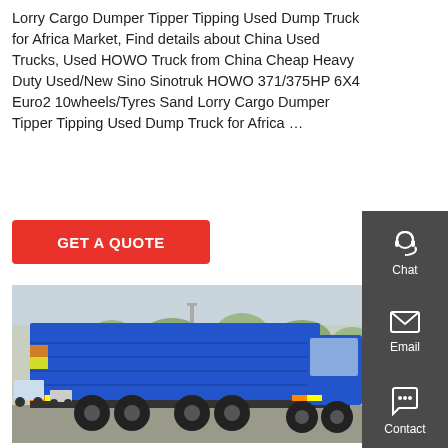Lorry Cargo Dumper Tipper Tipping Used Dump Truck for Africa Market, Find details about China Used Trucks, Used HOWO Truck from China Cheap Heavy Duty Used/New Sino Sinotruk HOWO 371/375HP 6X4 Euro2 10wheels/Tyres Sand Lorry Cargo Dumper Tipper Tipping Used Dump Truck for Africa …
[Figure (other): Red 'GET A QUOTE' button]
[Figure (photo): Blue Sinotruk HOWO 6x4 dump truck photographed from rear-left angle in a yard with trees visible in background]